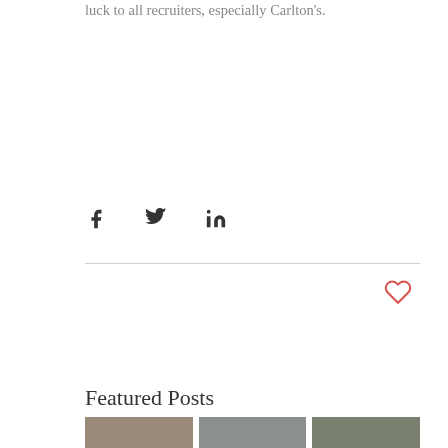luck to all recruiters, especially Carlton's.
[Figure (infographic): Social sharing icons: Facebook (f), Twitter (bird), LinkedIn (in)]
[Figure (infographic): Heart/like icon (outline, red)]
Featured Posts
[Figure (photo): Thumbnail strip of featured post images at bottom of page]